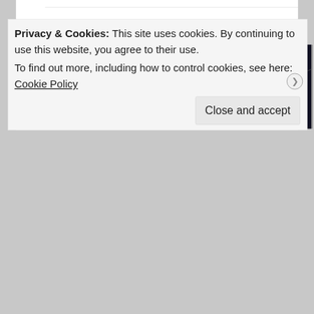sometimes I just need a little bit of inspiration. here are a few t days-
[Figure (photo): Three images side by side: a colorful vegetable stir-fry in a blue pan with a wooden spoon, a cozy outdoor/porch scene with string lights at dusk, and a partial view of a bright autumn/nature scene.]
Privacy & Cookies: This site uses cookies. By continuing to use this website, you agree to their use.
To find out more, including how to control cookies, see here: Cookie Policy
Close and accept